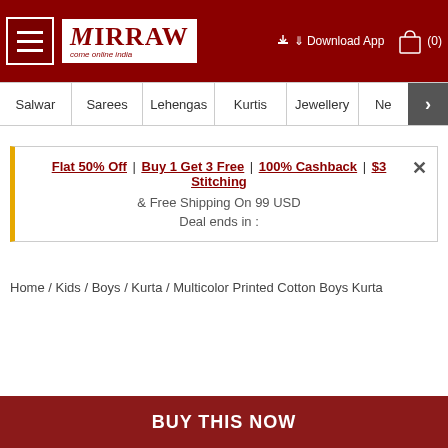[Figure (screenshot): Mirraw website header with hamburger menu, logo, Download App link, and cart icon]
Salwar | Sarees | Lehengas | Kurtis | Jewellery | Ne >
Flat 50% Off | Buy 1 Get 3 Free | 100% Cashback | $3 Stitching & Free Shipping On 99 USD
Deal ends in :
Home / Kids / Boys / Kurta / Multicolor Printed Cotton Boys Kurta
BUY THIS NOW